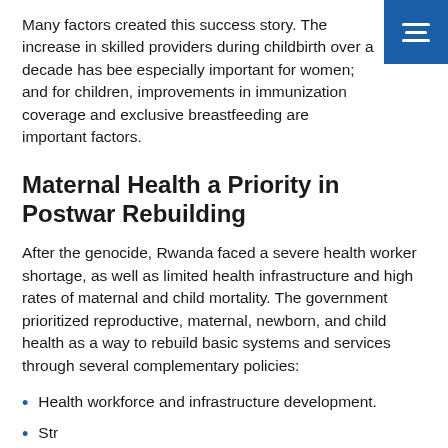Many factors created this success story. The increase in skilled providers during childbirth over a decade has been especially important for women; and for children, improvements in immunization coverage and exclusive breastfeeding are important factors.
Maternal Health a Priority in Postwar Rebuilding
After the genocide, Rwanda faced a severe health worker shortage, as well as limited health infrastructure and high rates of maternal and child mortality. The government prioritized reproductive, maternal, newborn, and child health as a way to rebuild basic systems and services through several complementary policies:
Health workforce and infrastructure development.
Strong community-based systems.